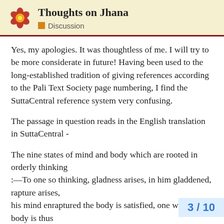Thoughts on Jhana
Discussion
Yes, my apologies. It was thoughtless of me. I will try to be more considerate in future! Having been used to the long-established tradition of giving references according to the Pali Text Society page numbering, I find the SuttaCentral reference system very confusing.
The passage in question reads in the English translation in SuttaCentral -
The nine states of mind and body which are rooted in orderly thinking
:—To one so thinking, gladness arises, in him gladdened, rapture arises,
his mind enraptured the body is satisfied, one whose body is thus
appeased is at ease, he being happily at e
stayed, with
3 / 10